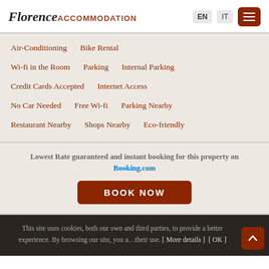Florence ACCOMMODATION  EN  IT  [menu]
Air-Conditioning
Bike Rental
Wi-fi in the Room
Parking
Internal Parking
Credit Cards Accepted
Internet Access
No Car Needed
Free Wi-fi
Parking Nearby
Restaurant Nearby
Shops Nearby
Eco-friendly
Lowest Rate guaranteed and instant booking for this property on Booking.com
BOOK NOW
This site uses cookies, both our own and third parties, to provide a better experience. By browsing our site, you agree to their use. [ More details ]  [ OK ]